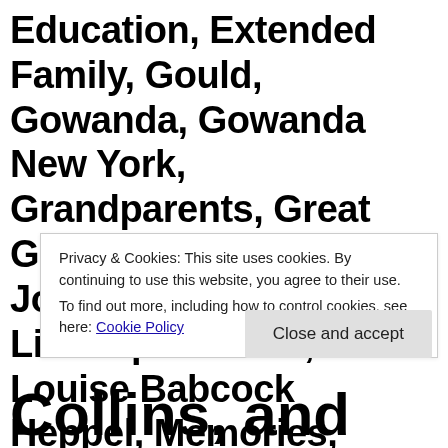Education, Extended Family, Gould, Gowanda, Gowanda New York, Grandparents, Great Grandparents, Heritage, Jonathan M Babcock, Life Experiences, Louise Babcock Heppel, Memories, Michele Babcock-Nice, People, School Personnel, Schools, South Dayton New York, Students, Teaching, Villenova New
Privacy & Cookies: This site uses cookies. By continuing to use this website, you agree to their use. To find out more, including how to control cookies, see here: Cookie Policy
Close and accept
Collins, and